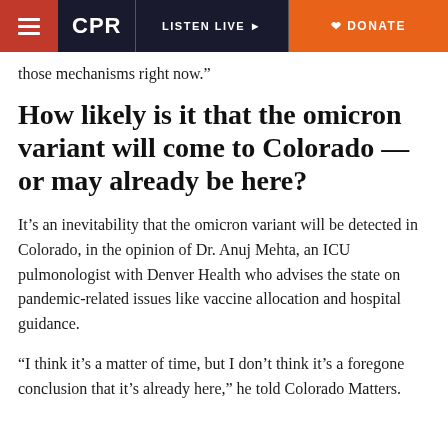CPR | LISTEN LIVE | DONATE
those mechanisms right now.”
How likely is it that the omicron variant will come to Colorado — or may already be here?
It’s an inevitability that the omicron variant will be detected in Colorado, in the opinion of Dr. Anuj Mehta, an ICU pulmonologist with Denver Health who advises the state on pandemic-related issues like vaccine allocation and hospital guidance.
“I think it’s a matter of time, but I don’t think it’s a foregone conclusion that it’s already here,” he told Colorado Matters.